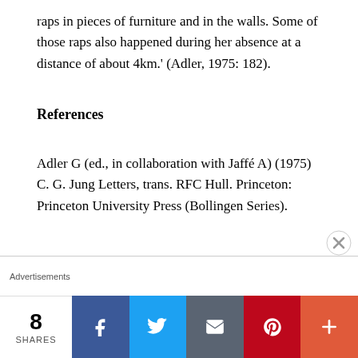raps in pieces of furniture and in the walls. Some of those raps also happened during her absence at a distance of about 4km.' (Adler, 1975: 182).
References
Adler G (ed., in collaboration with Jaffé A) (1975) C. G. Jung Letters, trans. RFC Hull. Princeton: Princeton University Press (Bollingen Series).
8 SHARES | Facebook | Twitter | Email | Pinterest | More